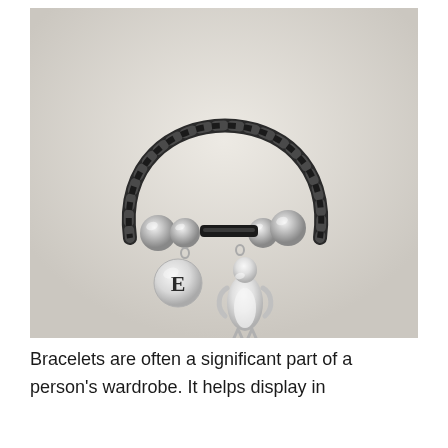[Figure (photo): A charm bracelet with a black braided cord, silver beads, a round silver charm engraved with the letter E, and a silver penguin charm pendant, photographed on a light beige background.]
Bracelets are often a significant part of a person's wardrobe. It helps display in